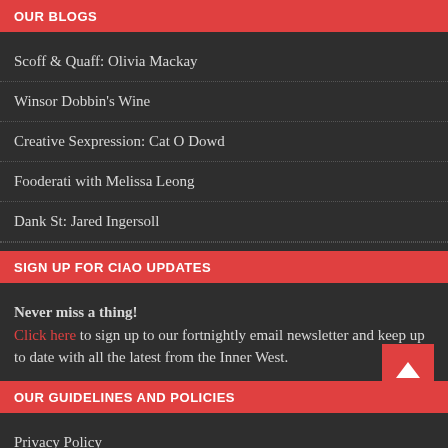OUR BLOGS
Scoff & Quaff: Olivia Mackay
Winsor Dobbin's Wine
Creative Sexpression: Cat O Dowd
Fooderati with Melissa Leong
Dank St: Jared Ingersoll
SIGN UP FOR CIAO UPDATES
Never miss a thing! Click here to sign up to our fortnightly email newsletter and keep up to date with all the latest from the Inner West.
OUR GUIDELINES AND POLICIES
Privacy Policy
Complaints Policy